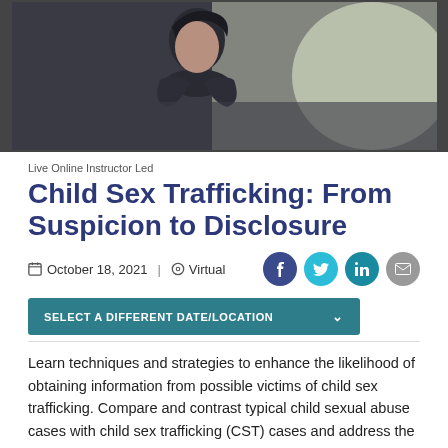[Figure (photo): A young woman in dark clothing hugging herself, photographed in a moody outdoor setting with blurred background]
Live Online Instructor Led
Child Sex Trafficking: From Suspicion to Disclosure
October 18, 2021  |  Virtual
SELECT A DIFFERENT DATE/LOCATION
Learn techniques and strategies to enhance the likelihood of obtaining information from possible victims of child sex trafficking. Compare and contrast typical child sexual abuse cases with child sex trafficking (CST) cases and address the